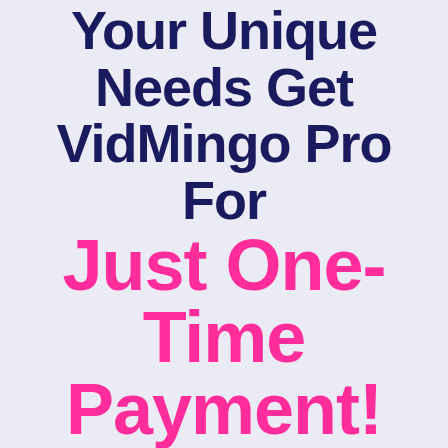Your Unique Needs Get VidMingo Pro For Just One-Time Payment!